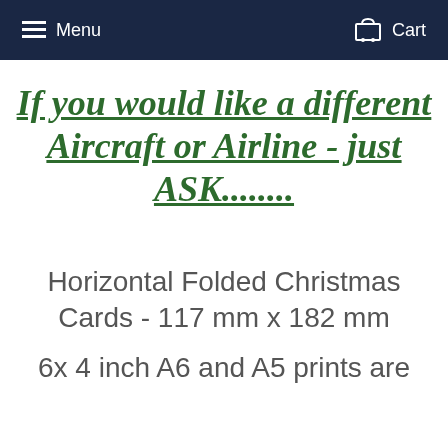Menu   Cart
If you would like a different Aircraft or Airline - just ASK........
Horizontal Folded Christmas Cards - 117 mm x 182 mm
6x 4 inch A6 and A5 prints are